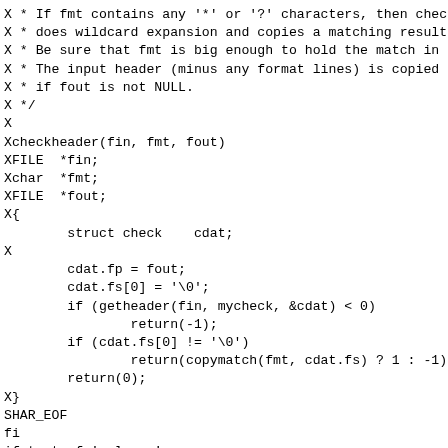X * If fmt contains any '*' or '?' characters, then check
X * does wildcard expansion and copies a matching result
X * Be sure that fmt is big enough to hold the match in s
X * The input header (minus any format lines) is copied f
X * if fout is not NULL.
X */
X
Xcheckheader(fin, fmt, fout)
XFILE  *fin;
Xchar  *fmt;
XFILE  *fout;
X{
        struct check    cdat;
X
        cdat.fp = fout;
        cdat.fs[0] = '\0';
        if (getheader(fin, mycheck, &cdat) < 0)
                return(-1);
        if (cdat.fs[0] != '\0')
                return(copymatch(fmt, cdat.fs) ? 1 : -1);
        return(0);
X}
SHAR_EOF
fi
if test -f 'color.c'
then
        echo shar: "will not over-write existing file 'co
else
sed 's/^X//' << \SHAR_EOF > 'color.c'
X/* Copyright (c) 1991 Regents of the University of Cali